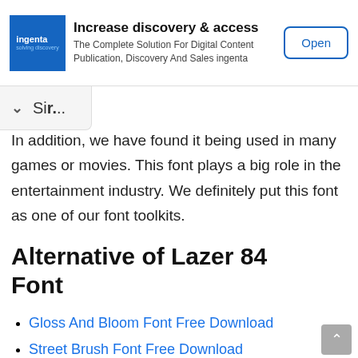[Figure (other): Ingenta advertisement banner with logo, headline 'Increase discovery & access', body text 'The Complete Solution For Digital Content Publication, Discovery And Sales ingenta', and an 'Open' button.]
Sir...
In addition, we have found it being used in many games or movies. This font plays a big role in the entertainment industry. We definitely put this font as one of our font toolkits.
Alternative of Lazer 84 Font
Gloss And Bloom Font Free Download
Street Brush Font Free Download